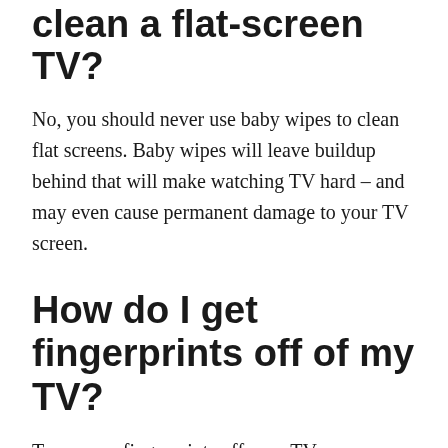clean a flat-screen TV?
No, you should never use baby wipes to clean flat screens. Baby wipes will leave buildup behind that will make watching TV hard – and may even cause permanent damage to your TV screen.
How do I get fingerprints off of my TV?
To remove fingerprints off your TV, you can use a microfiber cloth and water or a screen cleaner. Slightly dampen your cloth and run it along and far the across the entire TV...